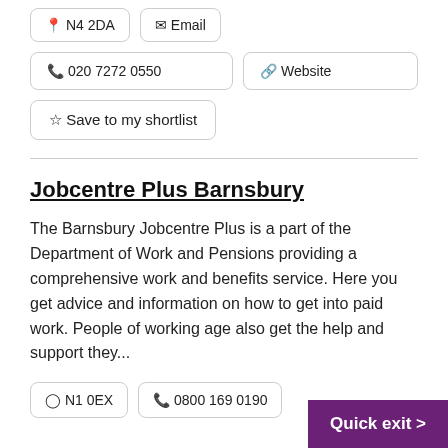📍 N4 2DA
✉ Email
📞 020 7272 0550
🔗 Website
☆ Save to my shortlist
Jobcentre Plus Barnsbury
The Barnsbury Jobcentre Plus is a part of the Department of Work and Pensions providing a comprehensive work and benefits service. Here you get advice and information on how to get into paid work. People of working age also get the help and support they...
📍 N1 0EX
📞 0800 169 0190
Quick exit >